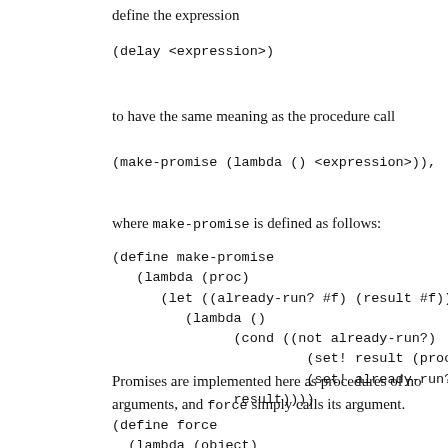define the expression
to have the same meaning as the procedure call
where make-promise is defined as follows:
Promises are implemented here as procedures of no arguments, and force simply calls its argument.